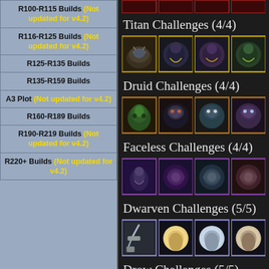R100-R115 Builds (Not updated for v4.2)
R116-R125 Builds (Not updated for v4.2)
R125-R135 Builds
R135-R159 Builds
A3 Plot (Not updated for v4.2)
R160-R189 Builds
R190-R219 Builds (Not updated for v4.2)
R220+ Builds (Not updated for v4.2)
Titan Challenges (4/4)
[Figure (screenshot): 4 Titan Challenge icons in a row]
Druid Challenges (4/4)
[Figure (screenshot): 4 Druid Challenge icons in a row]
Faceless Challenges (4/4)
[Figure (screenshot): 4 Faceless Challenge icons in a row]
Dwarven Challenges (5/5)
[Figure (screenshot): 4 Dwarven Challenge icons in a row (partial of 5)]
Drow Challenges (5/5)